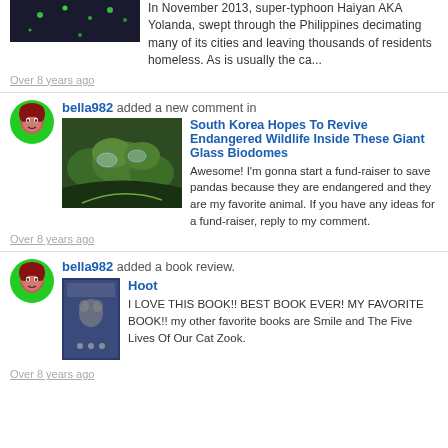[Figure (photo): Dark image with green dots, partially visible at top]
In November 2013, super-typhoon Haiyan AKA Yolanda, swept through the Philippines decimating many of its cities and leaving thousands of residents homeless. As is usually the ca...
Over 8 years ago
bella982 added a new comment in
[Figure (photo): Aerial view of forested landscape with glass biodomes]
South Korea Hopes To Revive Endangered Wildlife Inside These Giant Glass Biodomes
Awesome! I'm gonna start a fund-raiser to save pandas because they are endangered and they are my favorite animal. If you have any ideas for a fund-raiser, reply to my comment.
Over 8 years ago
bella982 added a book review.
[Figure (photo): Book cover for Hoot, dark blue with cat illustration]
Hoot
I LOVE THIS BOOK!! BEST BOOK EVER! MY FAVORITE BOOK!! my other favorite books are Smile and The Five Lives Of Our Cat Zook.
Over 8 years ago